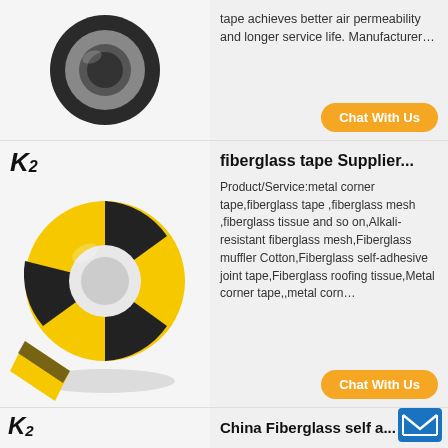[Figure (photo): Black tape roll (partially visible at top)]
tape achieves better air permeability and longer service life. Manufacturer…
Chat With Us
[Figure (logo): K2 logo]
[Figure (photo): Yellow and black hazard warning tape roll]
fiberglass tape Supplier...
Product/Service:metal corner tape,fiberglass tape ,fiberglass mesh ,fiberglass tissue and so on,Alkali-resistant fiberglass mesh,Fiberglass muffler Cotton,Fiberglass self-adhesive joint tape,Fiberglass roofing tissue,Metal corner tape,,metal corn…
Chat With Us
[Figure (logo): K2 logo]
[Figure (photo): White self-adhesive fiberglass tape roll]
China Fiberglass self a...
beiaardcantusneerpelt.beg joints of door and window frames to the walls. beiaardcantusneerpelt.beg of cracks, corners and joints in concrete, plaster surfaces. beiaardcantusneerpelt.be continuous reinforcement of walls, ceilings. Package & Shipment…